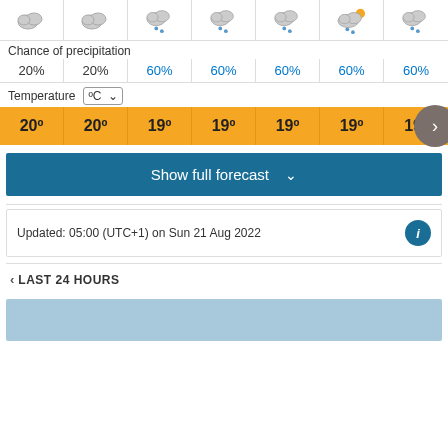[Figure (infographic): Weather forecast icons row: 7 cloud/rain/partly-sunny icons in a grid]
Chance of precipitation
20%  20%  60%  60%  60%  60%  60%
Temperature °C
20°  20°  19°  19°  19°  19°  19°
Show full forecast
Updated: 05:00 (UTC+1) on Sun 21 Aug 2022
< LAST 24 HOURS
[Figure (screenshot): Light blue background area at the bottom of the page]